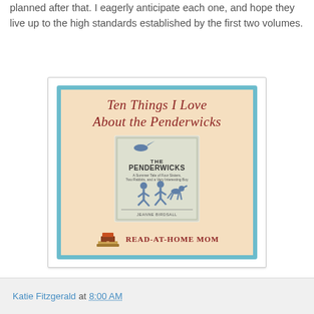planned after that. I eagerly anticipate each one, and hope they live up to the high standards established by the first two volumes.
[Figure (illustration): A decorative book cover image card with a peach/tan background and teal border. Title reads 'Ten Things I Love About the Penderwicks' in dark red italic serif font. Below is a small book cover image for 'The Penderwicks'. At the bottom is a stack of books icon and the text 'READ-AT-HOME MOM' in dark red.]
Katie Fitzgerald at 8:00 AM